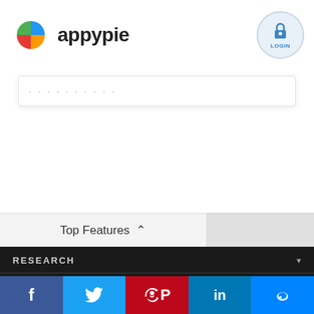appypie — LOGIN
...
Top Features
RESEARCH
Features
Pricing Plans
Facebook Twitter Pinterest LinkedIn Messenger